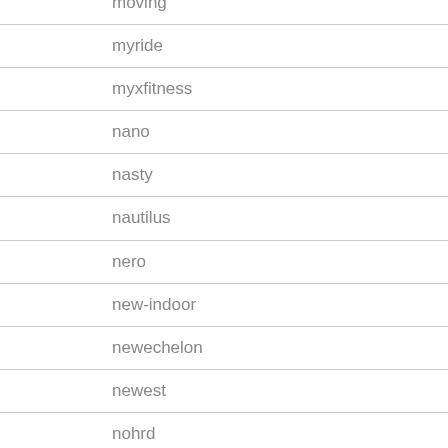moving
myride
myxfitness
nano
nasty
nautilus
nero
new-indoor
newechelon
newest
nohrd
nordic